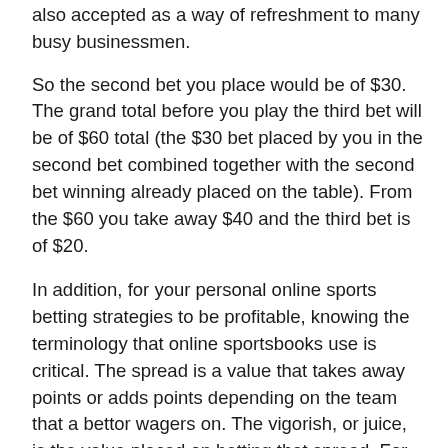also accepted as a way of refreshment to many busy businessmen.
So the second bet you place would be of $30. The grand total before you play the third bet will be of $60 total (the $30 bet placed by you in the second bet combined together with the second bet winning already placed on the table). From the $60 you take away $40 and the third bet is of $20.
In addition, for your personal online sports betting strategies to be profitable, knowing the terminology that online sportsbooks use is critical. The spread is a value that takes away points or adds points depending on the team that a bettor wagers on. The vigorish, or juice, is the value placed on betting that spread. For example, if a team is plus 7 at minus 110, that team will need to lose by six points or less or win the game. The -110 means that a bettor would need to bet $110 to win $100. The vig is how the